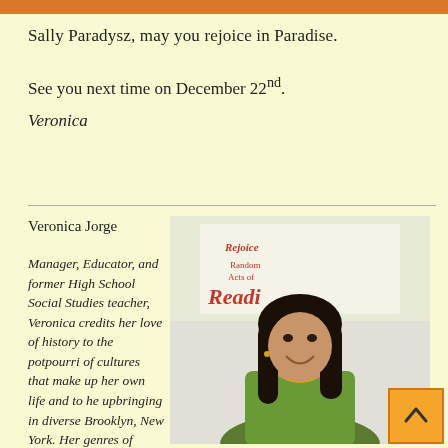Sally Paradysz, may you rejoice in Paradise.
See you next time on December 22nd.
Veronica
Veronica Jorge
Manager, Educator, and former High School Social Studies teacher, Veronica credits her love of history to the potpourri of cultures that make up her own life and to her upbringing in diverse Brooklyn, New York.  Her genres of choice are Historical Fiction where she always makes new
[Figure (photo): Photo of Veronica Jorge, a woman with long dark hair wearing a green top, smiling in front of a reading-themed poster.]